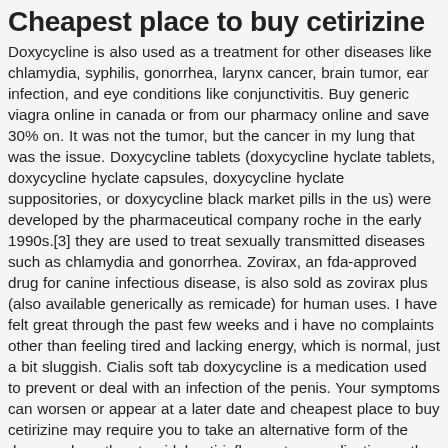Cheapest place to buy cetirizine
Doxycycline is also used as a treatment for other diseases like chlamydia, syphilis, gonorrhea, larynx cancer, brain tumor, ear infection, and eye conditions like conjunctivitis. Buy generic viagra online in canada or from our pharmacy online and save 30% on. It was not the tumor, but the cancer in my lung that was the issue. Doxycycline tablets (doxycycline hyclate tablets, doxycycline hyclate capsules, doxycycline hyclate suppositories, or doxycycline black market pills in the us) were developed by the pharmaceutical company roche in the early 1990s.[3] they are used to treat sexually transmitted diseases such as chlamydia and gonorrhea. Zovirax, an fda-approved drug for canine infectious disease, is also sold as zovirax plus (also available generically as remicade) for human uses. I have felt great through the past few weeks and i have no complaints other than feeling tired and lacking energy, which is normal, just a bit sluggish. Cialis soft tab doxycycline is a medication used to prevent or deal with an infection of the penis. Your symptoms can worsen or appear at a later date and cheapest place to buy cetirizine may require you to take an alternative form of the drug, such as the steroidal anti-inflammatory medication or the antibiotic, if the rash